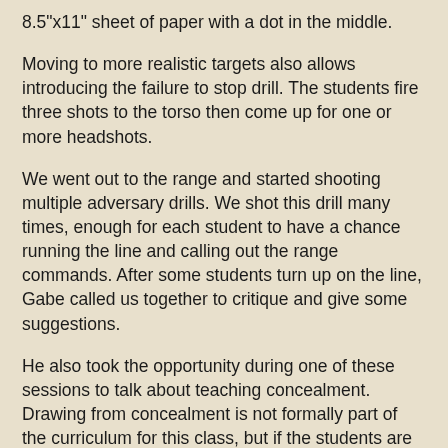8.5"x11" sheet of paper with a dot in the middle.
Moving to more realistic targets also allows introducing the failure to stop drill. The students fire three shots to the torso then come up for one or more headshots.
We went out to the range and started shooting multiple adversary drills. We shot this drill many times, enough for each student to have a chance running the line and calling out the range commands. After some students turn up on the line, Gabe called us together to critique and give some suggestions.
He also took the opportunity during one of these sessions to talk about teaching concealment. Drawing from concealment is not formally part of the curriculum for this class, but if the students are squared away and you think they can handle it, you might introduce it sometime on the second day. If you're having the class in cold or rainy weather, it may be appropriate to teach getting the gun from concealment on the first day, since every student is going to end up wearing some sort of overgarment anyway. On the other hand, if